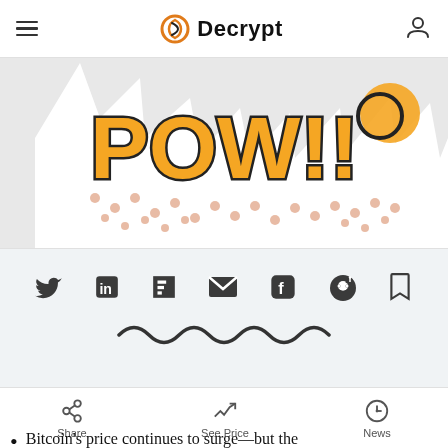Decrypt
[Figure (illustration): Comic-style pop art image showing 'POW!!' text in orange and black with halftone dots on white jagged burst background]
[Figure (infographic): Social sharing icons bar: Twitter, LinkedIn, Flipboard, Email, Facebook, Reddit, Bookmark; with a squiggly line decoration below]
In brief
Bitcoin's price continues to surge—but the
Share | See Price | News